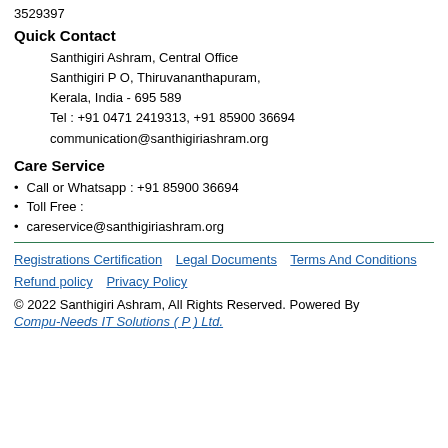3529397
Quick Contact
Santhigiri Ashram, Central Office
Santhigiri P O, Thiruvananthapuram,
Kerala, India - 695 589
Tel : +91 0471 2419313, +91 85900 36694
communication@santhigiriashram.org
Care Service
Call or Whatsapp : +91 85900 36694
Toll Free :
careservice@santhigiriashram.org
Registrations Certification   Legal Documents   Terms And Conditions   Refund policy   Privacy Policy
© 2022 Santhigiri Ashram, All Rights Reserved. Powered By
Compu-Needs IT Solutions ( P ) Ltd.